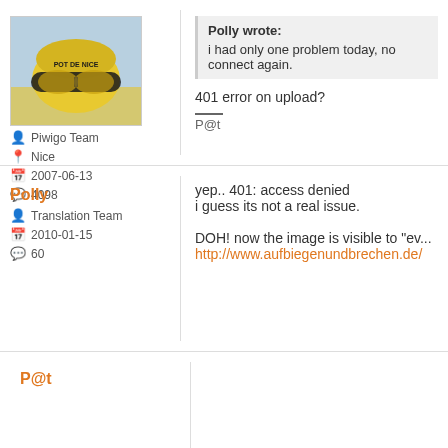[Figure (photo): Avatar photo showing a yellow helmet with ski goggles and 'POT DE NICE' text]
Piwigo Team
Nice
2007-06-13
4098
Polly wrote:
i had only one problem today, no connect again.
401 error on upload?
P@t
Polly
Translation Team
2010-01-15
60
yep.. 401: access denied
i guess its not a real issue.

DOH! now the image is visible to "ev...
http://www.aufbiegenundbrechen.de/
P@t